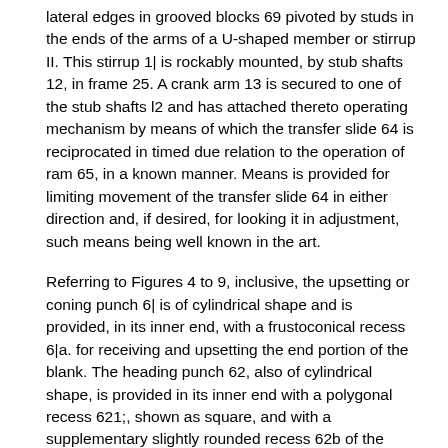lateral edges in grooved blocks 69 pivoted by studs in the ends of the arms of a U-shaped member or stirrup II. This stirrup 1| is rockably mounted, by stub shafts 12, in frame 25. A crank arm 13 is secured to one of the stub shafts l2 and has attached thereto operating mechanism by means of which the transfer slide 64 is reciprocated in timed due relation to the operation of ram 65, in a known manner. Means is provided for limiting movement of the transfer slide 64 in either direction and, if desired, for looking it in adjustment, such means being well known in the art.
Referring to Figures 4 to 9, inclusive, the upsetting or coning punch 6| is of cylindrical shape and is provided, in its inner end, with a frustoconical recess 6|a. for receiving and upsetting the end portion of the blank. The heading punch 62, also of cylindrical shape, is provided in its inner end with a polygonal recess 621;, shown as square, and with a supplementary slightly rounded recess 62b of the same configuration as recess 62a. and serving to impart the desired round to the outer face of the blank head. Recess 62a. is approximately equal in depth to one-half of the thickness of the desired bolt head, it being noted that recess 31 of body die 36 corresponds to recess 62a of